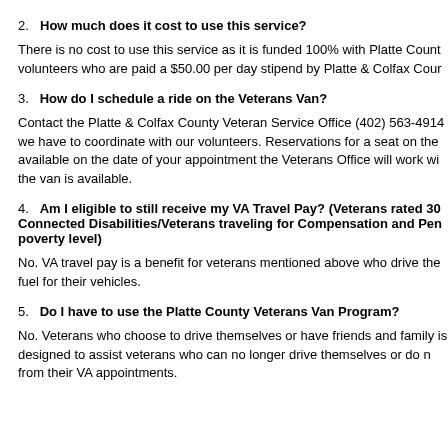2.  How much does it cost to use this service?
There is no cost to use this service as it is funded 100% with Platte Count volunteers who are paid a $50.00 per day stipend by Platte & Colfax Cour
3.  How do I schedule a ride on the Veterans Van?
Contact the Platte & Colfax County Veteran Service Office (402) 563-4914 we have to coordinate with our volunteers.  Reservations for a seat on the available on the date of your appointment the Veterans Office will work wi the van is available.
4.  Am I eligible to still receive my VA Travel Pay?  (Veterans rated 30 Connected Disabilities/Veterans traveling for Compensation and Pen poverty level)
No.  VA travel pay is a benefit for veterans mentioned above who drive the fuel for their vehicles.
5.  Do I have to use the Platte County Veterans Van Program?
No.  Veterans who choose to drive themselves or have friends and family is designed to assist veterans who can no longer drive themselves or do n from their VA appointments.